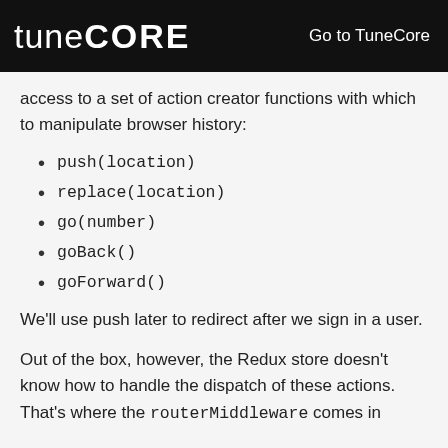tuneCORE  Go to TuneCore
access to a set of action creator functions with which to manipulate browser history:
push(location)
replace(location)
go(number)
goBack()
goForward()
We'll use push later to redirect after we sign in a user.
Out of the box, however, the Redux store doesn't know how to handle the dispatch of these actions. That's where the routerMiddleware comes in